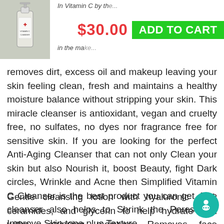[Figure (photo): Product bottle image - Vitamin C cleanser in a pump bottle]
$30.00  ADD TO CART
removes dirt, excess oil and makeup leaving your skin feeling clean, fresh and maintains a healthy moisture balance without stripping your skin. This miracle cleanser is antioxidant, vegan and cruelty free, no sulfates, no dyes nor fragrance free for sensitive skin. If you are looking for the perfect Anti-Aging Cleanser that can not only Clean your skin but also Nourish it, boost Beauty, fight Dark circles, Wrinkle and Acne then Simplified Vitamin C Cleanser is the best product you can get. The cleanser also helps to Shrink the Pores and Improve Skin tone plus Texture.
Gentle cleansing lotion with hyaluronic acid, ceramides, and glycerin to help hydrate skin witho... stripping moisture. Removes face makeup, dirt, and